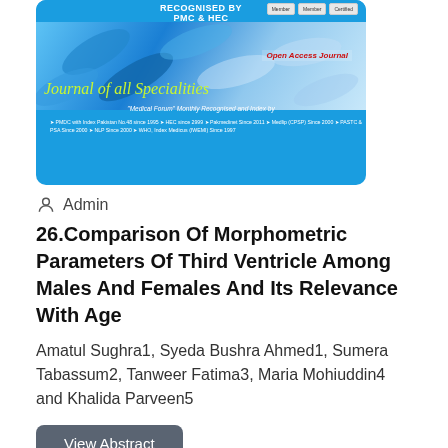[Figure (illustration): Journal of all Specialities banner - Open Access Journal, blue background with pill/capsule imagery, indexed by PMC & HEC]
Admin
26.Comparison Of Morphometric Parameters Of Third Ventricle Among Males And Females And Its Relevance With Age
Amatul Sughra1, Syeda Bushra Ahmed1, Sumera Tabassum2, Tanweer Fatima3, Maria Mohiuddin4 and Khalida Parveen5
View Abstract
[Figure (illustration): Bottom portion of Journal of all Specialities banner - RECOGNISED BY PMC & HEC, blue background with pill imagery]